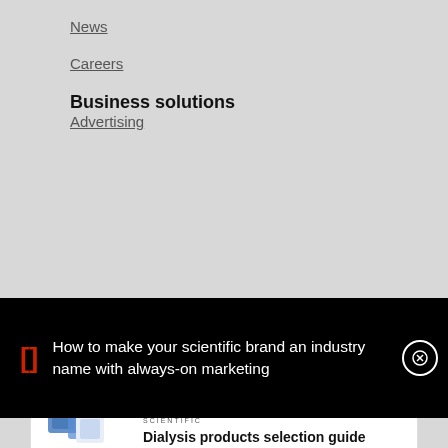News
Careers
Business solutions
Advertising
[Figure (screenshot): Black promotional banner with red bracket symbol and white text: 'How to make your scientific brand an industry name with always-on marketing', with a close button circle on the right]
[Figure (infographic): Thermo Fisher Scientific advertisement card showing dialysis product container images, ThermoFisher Scientific logo in red and blue, and text 'Dialysis products selection guide']